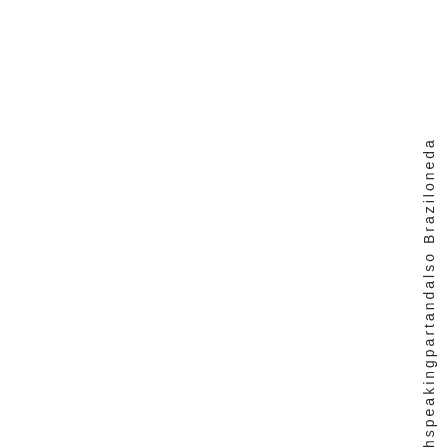hspeak ingpart and also Brazil on eda